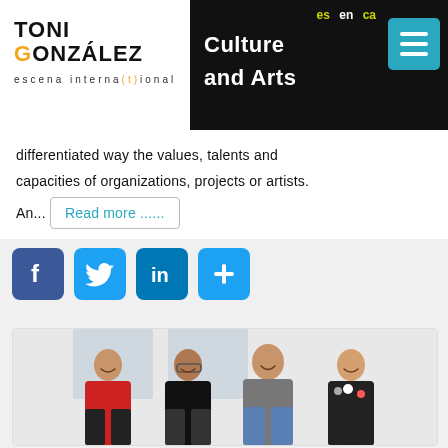TONI GONZÁLEZ escena interna(t)ional — Culture and Arts — es en ca
differentiated way the values, talents and capacities of organizations, projects or artists. An... Read more ......
[Figure (screenshot): Social media share buttons: Facebook, Twitter, LinkedIn, and a plus/more button, all in blue rounded square icons]
[Figure (photo): Group photo of four people — two women and two men — smiling and posing together with arms around each other in a white room]